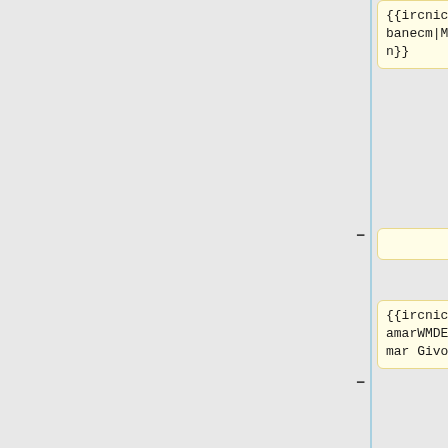{{ircnick|Urbanecm|Martin}}
|what=
{{ircnick|ItamarWMDE|Itamar Givon}}
* [wmf.16] {{gerrit|639035}} Revert JS parser commits
{{ircnick|irc-nickname|Requesting Developer}}